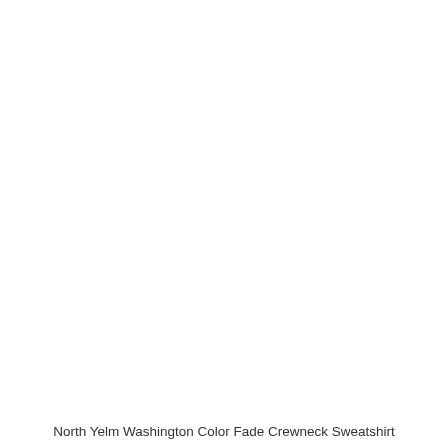[Figure (photo): Product photo of a North Yelm Washington Color Fade Crewneck Sweatshirt, appearing mostly white/blank on a white background]
North Yelm Washington Color Fade Crewneck Sweatshirt